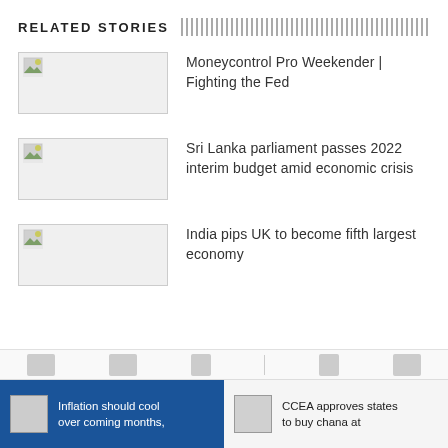RELATED STORIES
[Figure (photo): Thumbnail image placeholder for story 1]
Moneycontrol Pro Weekender | Fighting the Fed
[Figure (photo): Thumbnail image placeholder for story 2]
Sri Lanka parliament passes 2022 interim budget amid economic crisis
[Figure (photo): Thumbnail image placeholder for story 3]
India pips UK to become fifth largest economy
Inflation should cool over coming months,
CCEA approves states to buy chana at